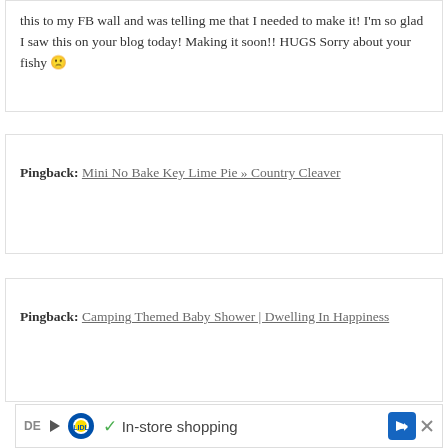this to my FB wall and was telling me that I needed to make it! I'm so glad I saw this on your blog today! Making it soon!! HUGS Sorry about your fishy 🙁
Pingback: Mini No Bake Key Lime Pie » Country Cleaver
Pingback: Camping Themed Baby Shower | Dwelling In Happiness
[Figure (other): Advertisement banner: Lidl in-store shopping ad with play icon, Lidl logo, checkmark, text 'In-store shopping', and navigation icon]